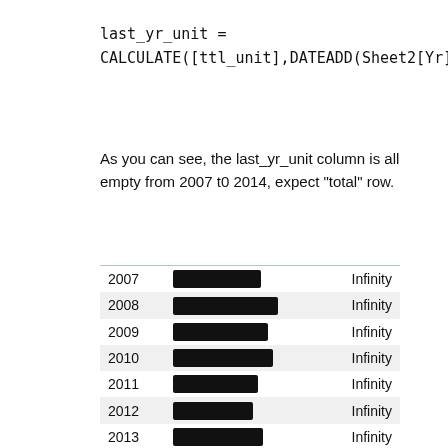last_yr_unit = CALCULATE([ttl_unit],DATEADD(Sheet2[Yr],-1,YEAR))
As you can see, the last_yr_unit column is all empty from 2007 t0 2014, expect "total" row.
| Year | [redacted] | last_yr_unit |
| --- | --- | --- |
| 2007 | [redacted] | Infinity |
| 2008 | [redacted] | Infinity |
| 2009 | [redacted] | Infinity |
| 2010 | [redacted] | Infinity |
| 2011 | [redacted] | Infinity |
| 2012 | [redacted] | Infinity |
| 2013 | [redacted] | Infinity |
| 2014 | [redacted] | Infinity |
| Total | 5[redacted] | 4[redacted] | 0.25 |